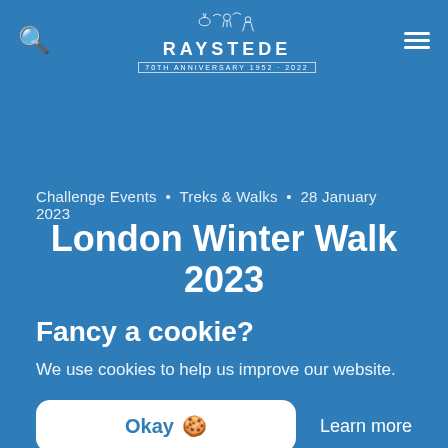RAYSTEDE 70TH ANNIVERSARY 1952 · 2022
Challenge Events · Treks & Walks · 28 January 2023
London Winter Walk 2023
Fancy a cookie?
We use cookies to help us improve our website.
Okay 🍪
Learn more